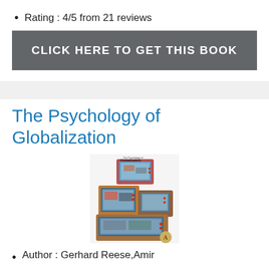Rating : 4/5 from 21 reviews
CLICK HERE TO GET THIS BOOK
The Psychology of Globalization
[Figure (photo): Book cover of The Psychology of Globalization showing stacked vintage television sets]
Author : Gerhard Reese,Amir